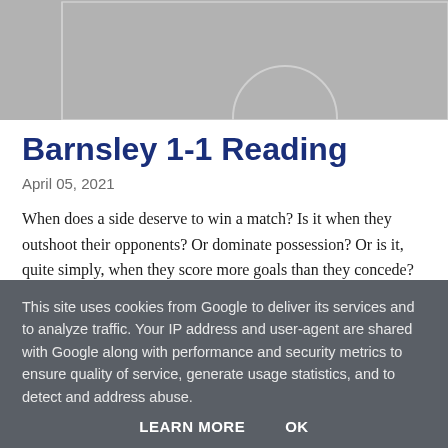[Figure (illustration): Partial view of a football/soccer pitch diagram shown in grey, with white line markings including a centre circle arc visible at the bottom of the image.]
Barnsley 1-1 Reading
April 05, 2021
When does a side deserve to win a match? Is it when they outshoot their opponents? Or dominate possession? Or is it, quite simply, when they score more goals than they concede? Lots of old school football folk would lean ...
This site uses cookies from Google to deliver its services and to analyze traffic. Your IP address and user-agent are shared with Google along with performance and security metrics to ensure quality of service, generate usage statistics, and to detect and address abuse.
LEARN MORE    OK